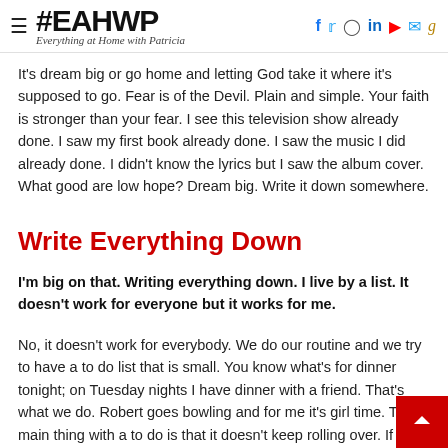#EAHWP Everything at Home with Patricia
It’s dream big or go home and letting God take it where it’s supposed to go. Fear is of the Devil. Plain and simple. Your faith is stronger than your fear. I see this television show already done. I saw my first book already done. I saw the music I did already done. I didn’t know the lyrics but I saw the album cover. What good are low hope? Dream big. Write it down somewhere.
Write Everything Down
I’m big on that. Writing everything down. I live by a list. It doesn’t work for everyone but it works for me.
No, it doesn’t work for everybody. We do our routine and we try to have a to do list that is small. You know what’s for dinner tonight; on Tuesday nights I have dinner with a friend. That’s what we do. Robert goes bowling and for me it’s girl time. The main thing with a to do is that it doesn’t keep rolling over. If it’s something that has to be